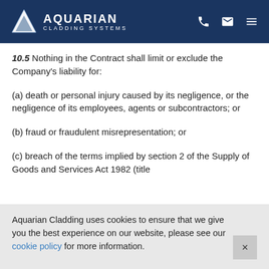Aquarian Cladding Systems
10.5 Nothing in the Contract shall limit or exclude the Company's liability for:
(a) death or personal injury caused by its negligence, or the negligence of its employees, agents or subcontractors; or
(b) fraud or fraudulent misrepresentation; or
(c) breach of the terms implied by section 2 of the Supply of Goods and Services Act 1982 (title
Aquarian Cladding uses cookies to ensure that we give you the best experience on our website, please see our cookie policy for more information.